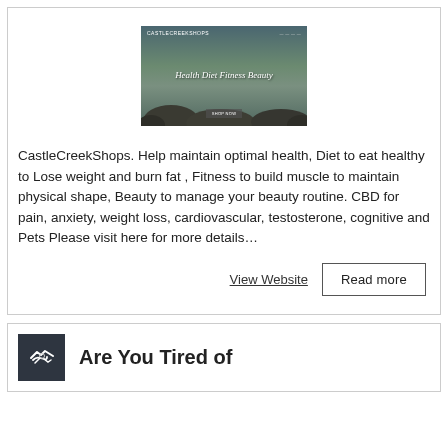[Figure (screenshot): Screenshot of CastleCreekShops website showing 'Health Diet Fitness Beauty' tagline with a river/outdoor background image]
CastleCreekShops. Help maintain optimal health, Diet to eat healthy to Lose weight and burn fat , Fitness to build muscle to maintain physical shape, Beauty to manage your beauty routine. CBD for pain, anxiety, weight loss, cardiovascular, testosterone, cognitive and Pets Please visit here for more details…
View Website
Read more
[Figure (illustration): Handshake icon on dark background]
Are You Tired of